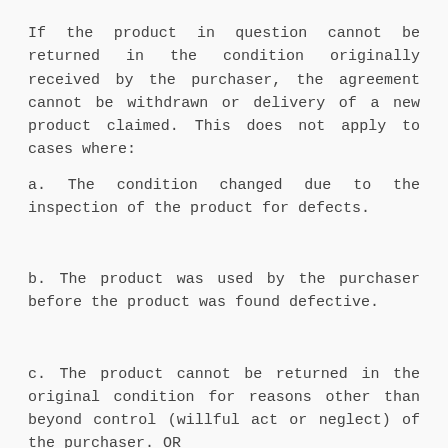If the product in question cannot be returned in the condition originally received by the purchaser, the agreement cannot be withdrawn or delivery of a new product claimed. This does not apply to cases where:
a. The condition changed due to the inspection of the product for defects.
b. The product was used by the purchaser before the product was found defective.
c. The product cannot be returned in the original condition for reasons other than beyond control (willful act or neglect) of the purchaser. OR